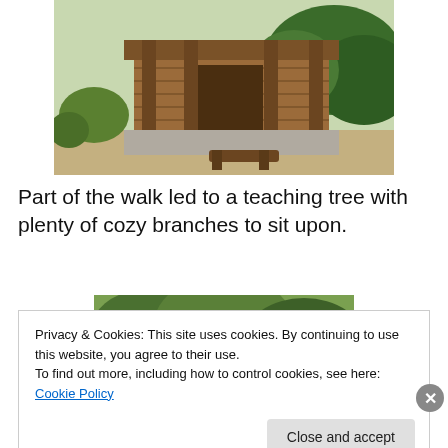[Figure (photo): A wooden cabin/shelter structure with log columns and a porch, surrounded by trees and dry brush in a natural outdoor setting.]
Part of the walk led to a teaching tree with plenty of cozy branches to sit upon.
[Figure (photo): Dense green trees and foliage, partial view of a nature scene partially obscured by cookie consent banner.]
Privacy & Cookies: This site uses cookies. By continuing to use this website, you agree to their use.
To find out more, including how to control cookies, see here: Cookie Policy
Close and accept
Advertisements